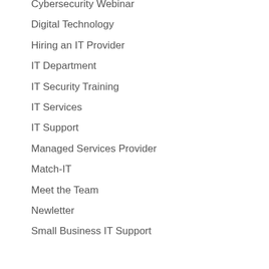Cybersecurity Webinar
Digital Technology
Hiring an IT Provider
IT Department
IT Security Training
IT Services
IT Support
Managed Services Provider
Match-IT
Meet the Team
Newletter
Small Business IT Support